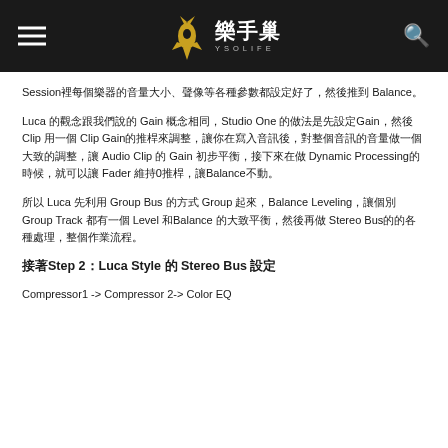樂手巢 YSOLIFE
Session裡每個樂器的音量大小、聲像等各種參數都設定好了，然後推到 Balance。
Luca 的觀念跟我們說的 Gain 概念相同，Studio One 的做法是先設定Gain，然後 Clip 用一個 Clip Gain的推桿來調整，讓你在寫入音訊後，對整個音訊的音量做一個大致的調整，讓 Audio Clip 的 Gain 初步平衡，接下來在做 Dynamic Processing的時候，就可以讓 Fader 維持0推桿，讓Balance不動。
所以 Luca 先利用 Group Bus 的方式 Group 起來，Balance Leveling，讓個別 Group Track 都有一個 Level 和Balance 的大致平衡，然後再做 Stereo Bus的的各種處理，整個作業流程。
接著Step 2：Luca Style 的 Stereo Bus 設定
Compressor1 -> Compressor 2-> Color EQ